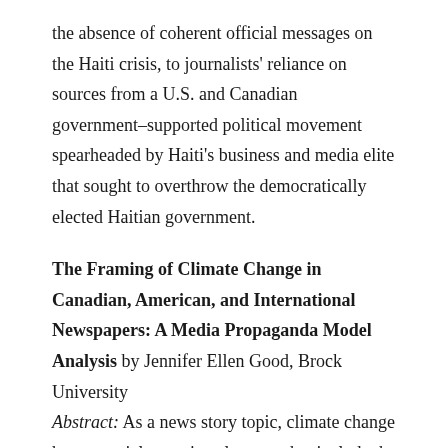the absence of coherent official messages on the Haiti crisis, to journalists' reliance on sources from a U.S. and Canadian government–supported political movement spearheaded by Haiti's business and media elite that sought to overthrow the democratically elected Haitian government.
The Framing of Climate Change in Canadian, American, and International Newspapers: A Media Propaganda Model Analysis by Jennifer Ellen Good, Brock University Abstract: As a news story topic, climate change has potential narrative elements that include the oil industry and the earth's climatic balance. With the world's leading scientists now insisting that the story should be shifting from whether